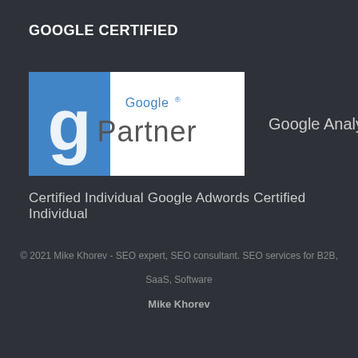GOOGLE CERTIFIED
[Figure (logo): Google Partner badge — blue square with white 'g' on left, white rectangle with 'Google Partner' text on right]
Google Analytics
Certified Individual Google Adwords Certified Individual
© 2021 Mike Khorev - SEO expert, SEO consultant. SEO services for B2B, SaaS, Software
Mike Khorev